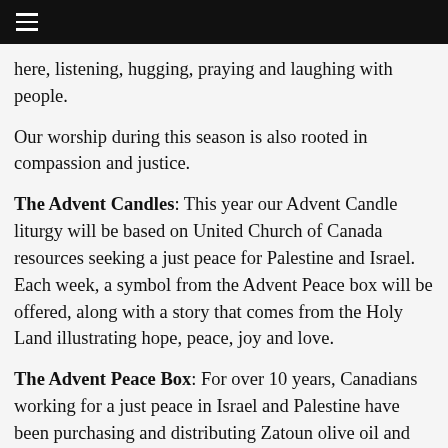☰
here, listening, hugging, praying and laughing with people.
Our worship during this season is also rooted in compassion and justice.
The Advent Candles: This year our Advent Candle liturgy will be based on United Church of Canada resources seeking a just peace for Palestine and Israel. Each week, a symbol from the Advent Peace box will be offered, along with a story that comes from the Holy Land illustrating hope, peace, joy and love.
The Advent Peace Box: For over 10 years, Canadians working for a just peace in Israel and Palestine have been purchasing and distributing Zatoun olive oil and other products as a means of advocating for economic justice for Palestinians.  Last year I purchased a box